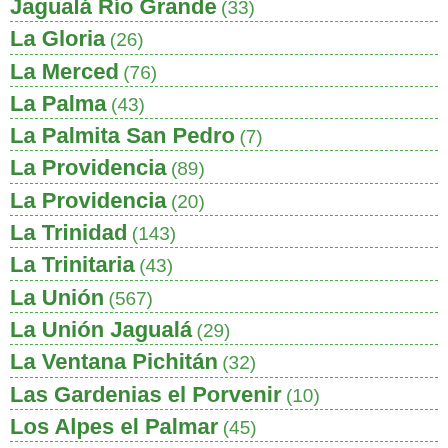Jagualá Río Grande (33)
La Gloria (26)
La Merced (76)
La Palma (43)
La Palmita San Pedro (7)
La Providencia (89)
La Providencia (20)
La Trinidad (143)
La Trinitaria (43)
La Unión (567)
La Unión Jagualá (29)
La Ventana Pichitán (32)
Las Gardenias el Porvenir (10)
Los Alpes el Palmar (45)
Los Naranjos (30)